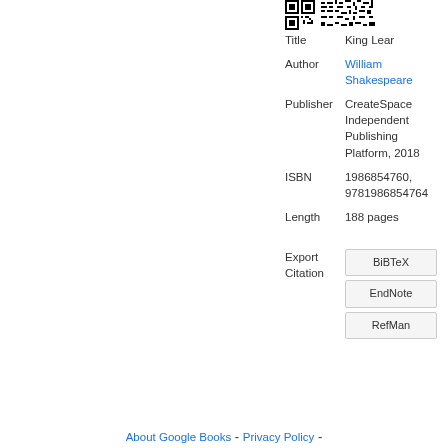[Figure (other): QR code at top right of page]
| Title | King Lear |
| Author | William Shakespeare |
| Publisher | CreateSpace Independent Publishing Platform, 2018 |
| ISBN | 1986854760, 9781986854764 |
| Length | 188 pages |
| Export Citation | BiBTeX / EndNote / RefMan |
About Google Books - Privacy Policy -